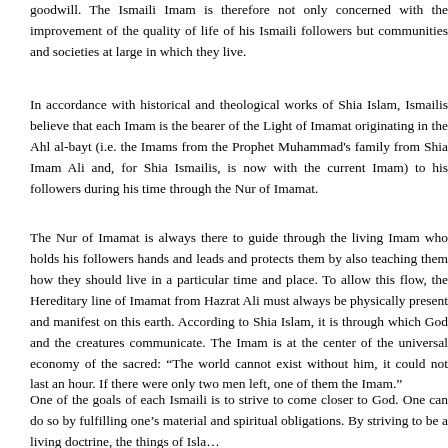goodwill. The Ismaili Imam is therefore not only concerned with the improvement of the quality of life of his Ismaili followers but communities and societies at large in which they live.
In accordance with historical and theological works of Shia Islam, Ismailis believe that each Imam is the bearer of the Light of Imamat originating in the Ahl al-bayt (i.e. the Imams from the Prophet Muhammad's family from Shia Imam Ali and, for Shia Ismailis, is now with the current Imam) to his followers during his time through the Nur of Imamat.
The Nur of Imamat is always there to guide through the living Imam who holds his followers hands and leads and protects them by also teaching them how they should live in a particular time and place. To allow this flow, the Hereditary line of Imamat from Hazrat Ali must always be physically present and manifest on this earth. According to Shia Islam, it is through which God and the creatures communicate. The Imam is at the center of the universal economy of the sacred: "The world cannot exist without him, it could not last an hour. If there were only two men left, one of them the Imam."
One of the goals of each Ismaili is to strive to come closer to God. One can do so by fulfilling one's material and spiritual obligations. By striving to be a living doctrine, the things of Isl...